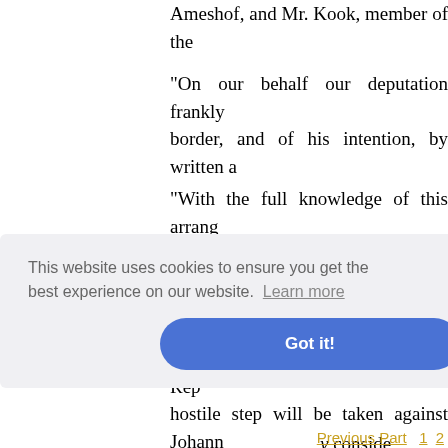Ameshof, and Mr. Kook, member of the
"On our behalf our deputation frankly border, and of his intention, by written a
"With the full knowledge of this arrang agitating for our rights, the Governm Executive Council, of which the followi
""The High Commissioner has offered h Government of the South African Rep hostile step will be taken against Johann against the Government. In terms of a y conside
n with the elieving r ration of g
This website uses cookies to ensure you get the best experience on our website. Learn more
Got it!
Previous Part  1  2